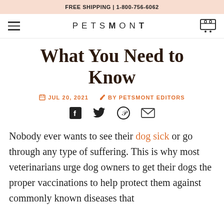FREE SHIPPING | 1-800-756-6062
[Figure (logo): Petsmont logo with hamburger menu and cart icon in navigation bar]
What You Need to Know
JUL 20, 2021  BY PETSMONT EDITORS
[Figure (infographic): Social share icons: Facebook, Twitter, Pinterest, Email]
Nobody ever wants to see their dog sick or go through any type of suffering. This is why most veterinarians urge dog owners to get their dogs the proper vaccinations to help protect them against commonly known diseases that